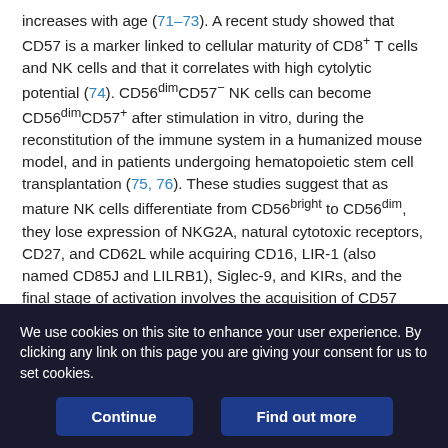increases with age (71–73). A recent study showed that CD57 is a marker linked to cellular maturity of CD8+ T cells and NK cells and that it correlates with high cytolytic potential (74). CD56dimCD57− NK cells can become CD56dimCD57+ after stimulation in vitro, during the reconstitution of the immune system in a humanized mouse model, and in patients undergoing hematopoietic stem cell transplantation (75, 76). These studies suggest that as mature NK cells differentiate from CD56bright to CD56dim, they lose expression of NKG2A, natural cytotoxic receptors, CD27, and CD62L while acquiring CD16, LIR-1 (also named CD85J and LILRB1), Siglec-9, and KIRs, and the final stage of activation involves the acquisition of CD57 (75–77).
In the CD57 activation on kelons NK cells, they sind...
We use cookies on this site to enhance your user experience. By clicking any link on this page you are giving your consent for us to set cookies.